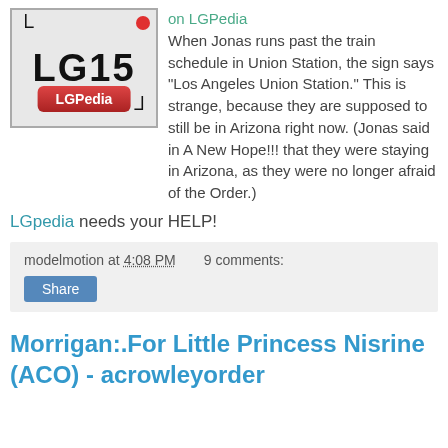[Figure (logo): LGPedia logo — grey box with bracket corners, red dot, bold LG15 text, and red LGPedia button]
on LGPedia
When Jonas runs past the train schedule in Union Station, the sign says "Los Angeles Union Station." This is strange, because they are supposed to still be in Arizona right now. (Jonas said in A New Hope!!! that they were staying in Arizona, as they were no longer afraid of the Order.)
LGpedia needs your HELP!
modelmotion at 4:08 PM   9 comments:
Share
Morrigan:.For Little Princess Nisrine (ACO) - acrowleyorder